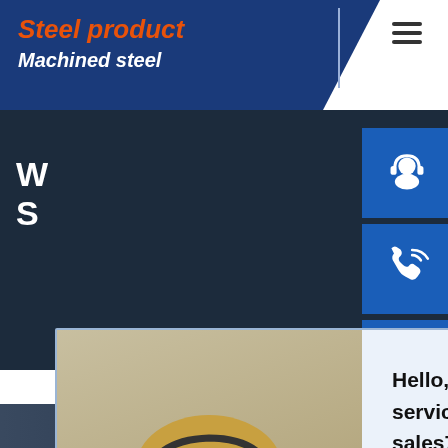Steel product | Machined steel
[Figure (screenshot): Website screenshot showing steel product company page with chat popup overlay. Header has orange italic 'Steel product' and white italic 'Machined steel' on blue background. Right side has three blue icon buttons (headset, phone, Skype). A chat popup shows a woman with headset and text 'Hello, Welcome to our website. We provide online service, if you have any questions, please contact sales7service@163.com' with Chat Now and Chat Later buttons.]
Hello, Welcome to our website. We provide online service, if you have any questions, please contact sales7service@163.com
Chat Now
Chat Later